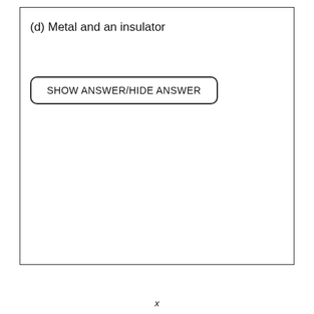(d) Metal and an insulator
SHOW ANSWER/HIDE ANSWER
x